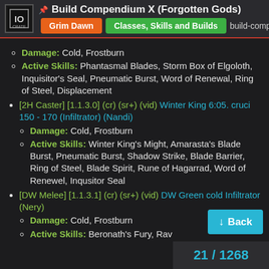Build Compendium X (Forgotten Gods) | Grim Dawn | Classes, Skills and Builds | build-compe...
[2H Caster] [1.1.3.0] (cr) (sr+) (vid) Winter King 6:05. cruci 150 - 170 (Infiltrator) (Nandi)
Damage: Cold, Frostburn
Active Skills: Phantasmal Blades, Storm Box of Elgoloth, Inquisitor’s Seal, Pneumatic Burst, Word of Renewal, Ring of Steel, Displacement
[2H Caster] [1.1.3.0] (cr) (sr+) (vid) Winter King 6:05. cruci 150 - 170 (Infiltrator) (Nandi)
Damage: Cold, Frostburn
Active Skills: Winter King’s Might, Amarasta’s Blade Burst, Pneumatic Burst, Shadow Strike, Blade Barrier, Ring of Steel, Blade Spirit, Rune of Hagarrad, Word of Renewel, Inqusitor Seal
[DW Melee] [1.1.3.1] (cr) (sr+) (vid) DW Green cold Infiltrator (Nery)
Damage: Cold, Frostburn
Active Skills: Beronath’s Fury, Rav...
21 / 1268